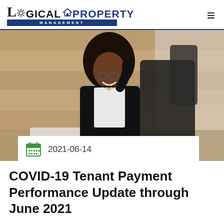Logical Property Management
[Figure (photo): Woman with curly hair smiling and talking on phone while working at a laptop in an office setting with wooden wall panel background]
2021-06-14
COVID-19 Tenant Payment Performance Update through June 2021